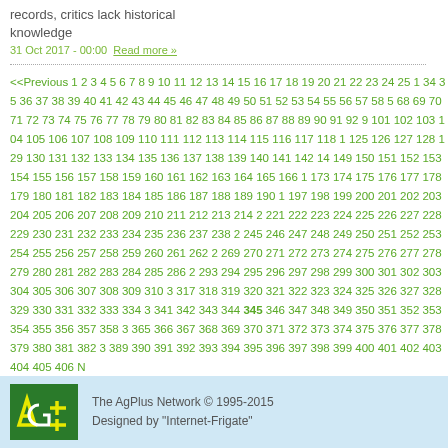records, critics lack historical knowledge
31 Oct 2017 - 00:00  Read more »
<<Previous 1 2 3 4 5 6 7 8 9 10 11 12 13 14 15 16 17 18 19 20 21 22 23 24 25 ... 34 35 36 37 38 39 40 41 42 43 44 45 46 47 48 49 50 51 52 53 54 55 56 57 58 5... 68 69 70 71 72 73 74 75 76 77 78 79 80 81 82 83 84 85 86 87 88 89 90 91 92 9... 101 102 103 104 105 106 107 108 109 110 111 112 113 114 115 116 117 118 1... 125 126 127 128 129 130 131 132 133 134 135 136 137 138 139 140 141 142 14... 149 150 151 152 153 154 155 156 157 158 159 160 161 162 163 164 165 166 1... 173 174 175 176 177 178 179 180 181 182 183 184 185 186 187 188 189 190 1... 197 198 199 200 201 202 203 204 205 206 207 208 209 210 211 212 213 214 2... 221 222 223 224 225 226 227 228 229 230 231 232 233 234 235 236 237 238 2... 245 246 247 248 249 250 251 252 253 254 255 256 257 258 259 260 261 262 2... 269 270 271 272 273 274 275 276 277 278 279 280 281 282 283 284 285 286 2... 293 294 295 296 297 298 299 300 301 302 303 304 305 306 307 308 309 310 3... 317 318 319 320 321 322 323 324 325 326 327 328 329 330 331 332 333 334 3... 341 342 343 344 345 346 347 348 349 350 351 352 353 354 355 356 357 358 3... 365 366 367 368 369 370 371 372 373 374 375 376 377 378 379 380 381 382 3... 389 390 391 392 393 394 395 396 397 398 399 400 401 402 403 404 405 406 N...
The AgPlus Network © 1995-2015 Designed by "Internet-Frigate"